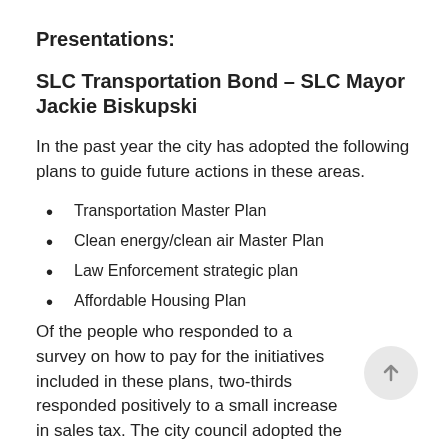Presentations:
SLC Transportation Bond – SLC Mayor Jackie Biskupski
In the past year the city has adopted the following plans to guide future actions in these areas.
Transportation Master Plan
Clean energy/clean air Master Plan
Law Enforcement strategic plan
Affordable Housing Plan
Of the people who responded to a survey on how to pay for the initiatives included in these plans, two-thirds responded positively to a small increase in sales tax. The city council adopted the sales tax